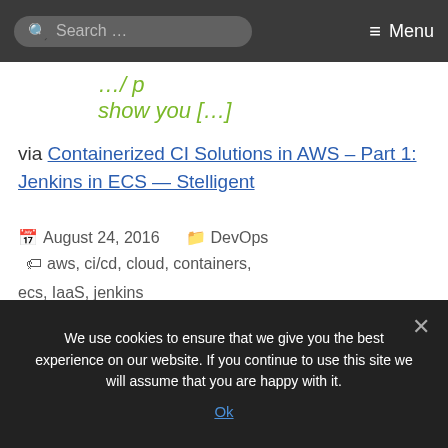Search ... Menu
... show you [...]
via Containerized CI Solutions in AWS – Part 1: Jenkins in ECS — Stelligent
August 24, 2016  DevOps  aws, ci/cd, cloud, containers, ecs, IaaS, jenkins
We use cookies to ensure that we give you the best experience on our website. If you continue to use this site we will assume that you are happy with it. Ok